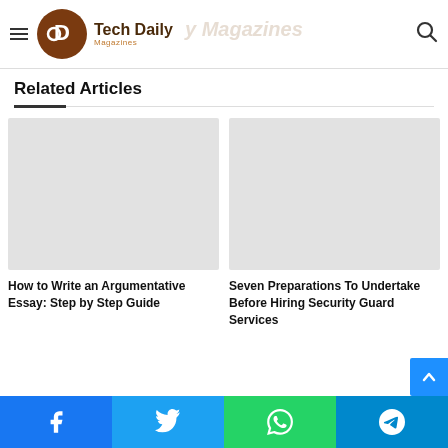Tech Daily Magazines
Related Articles
[Figure (illustration): Placeholder image for article: How to Write an Argumentative Essay: Step by Step Guide]
How to Write an Argumentative Essay: Step by Step Guide
[Figure (illustration): Placeholder image for article: Seven Preparations To Undertake Before Hiring Security Guard Services]
Seven Preparations To Undertake Before Hiring Security Guard Services